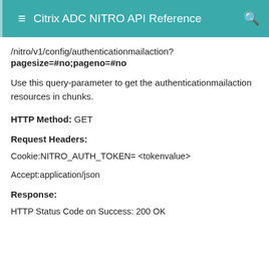Citrix ADC NITRO API Reference
/nitro/v1/config/authenticationmailaction?pagesize=#no;pageno=#no
Use this query-parameter to get the authenticationmailaction resources in chunks.
HTTP Method: GET
Request Headers:
Cookie:NITRO_AUTH_TOKEN= <tokenvalue>
Accept:application/json
Response:
HTTP Status Code on Success: 200 OK